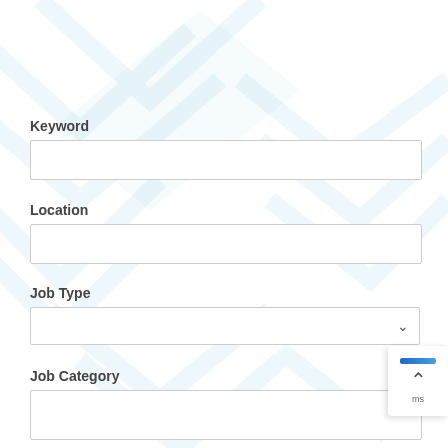[Figure (illustration): Light blue decorative geometric/diamond watermark pattern in the background of the page]
Keyword
Location
Job Type
Job Category